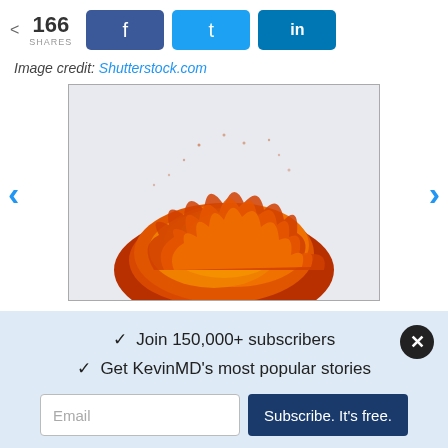< 166 SHARES
[Figure (screenshot): Social share bar with Facebook, Twitter, and LinkedIn buttons]
Image credit: Shutterstock.com
[Figure (photo): Explosion fireball on a light blue-gray background, showing an orange and red fire cloud]
✓ Join 150,000+ subscribers
✓ Get KevinMD's most popular stories
Email | Subscribe. It's free.